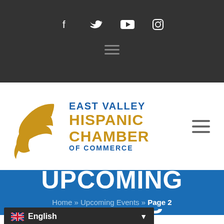Social icons: Facebook, Twitter, YouTube, Instagram; hamburger menu
[Figure (logo): East Valley Hispanic Chamber of Commerce logo with gold wing/bird graphic and blue and gold text]
UPCOMING EVENTS
Home » Upcoming Events » Page 2
English (language selector)